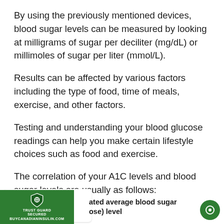By using the previously mentioned devices, blood sugar levels can be measured by looking at milligrams of sugar per deciliter (mg/dL) or millimoles of sugar per liter (mmol/L).
Results can be affected by various factors including the type of food, time of meals, exercise, and other factors.
Testing and understanding your blood glucose readings can help you make certain lifestyle choices such as food and exercise.
The correlation of your A1C levels and blood sugar levels are usually as follows:
508 Reviews | TRUST GUARD SECURED BUYCANADIANINSULIN.COM | ...ated average blood sugar ...ose) level